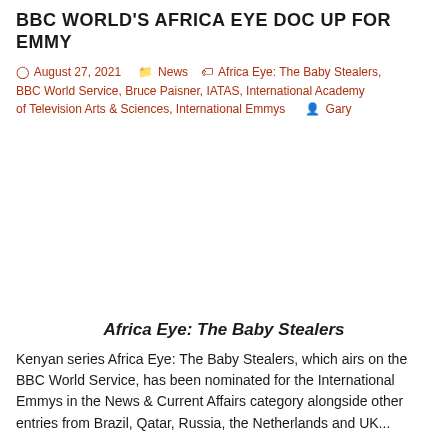BBC WORLD'S AFRICA EYE DOC UP FOR EMMY
August 27, 2021   News   Africa Eye: The Baby Stealers, BBC World Service, Bruce Paisner, IATAS, International Academy of Television Arts & Sciences, International Emmys   Gary
Africa Eye: The Baby Stealers
Kenyan series Africa Eye: The Baby Stealers, which airs on the BBC World Service, has been nominated for the International Emmys in the News & Current Affairs category alongside other entries from Brazil, Qatar, Russia, the Netherlands and UK...